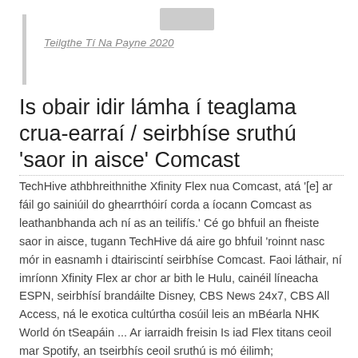Teilgthe Tí Na Payne 2020
Is obair idir lámha í teaglama crua-earraí / seirbhíse sruthú 'saor in aisce' Comcast
TechHive athbhreithnithe Xfinity Flex nua Comcast, atá '[e] ar fáil go sainiúil do ghearrthóirí corda a íocann Comcast as leathanbhanda ach ní as an teilifís.' Cé go bhfuil an fheiste saor in aisce, tugann TechHive dá aire go bhfuil 'roinnt nasc mór in easnamh i dtairiscintí seirbhíse Comcast. Faoi láthair, ní imríonn Xfinity Flex ar chor ar bith le Hulu, cainéil líneacha ESPN, seirbhísí brandáilte Disney, CBS News 24x7, CBS All Access, ná le exotica cultúrtha cosúil leis an mBéarla NHK World ón tSeapáin ... Ar iarraidh freisin Is iad Flex titans ceoil mar Spotify, an tseirbhís ceoil sruthú is mó éilimh; comhiomlánóir raidió idirlín domhanda TuneIn, atá 10 n-uaire níos fearr ná an aip iHeartRadio a dtacaítear leis; agus raidió satailíte biggie Sirius / XM. '